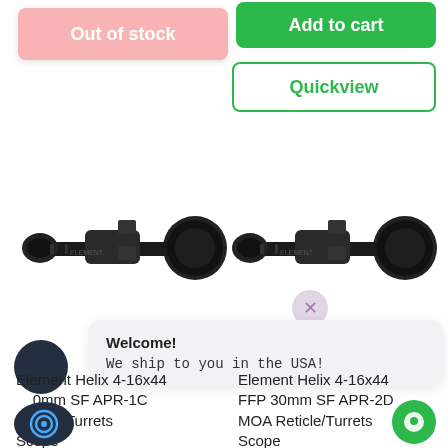[Figure (screenshot): Pink 'Out of stock' button on left side]
[Figure (screenshot): Green 'Add to cart' button on right side]
[Figure (screenshot): Green 'Quickview' outlined button on right side]
[Figure (photo): Element Helix rifle scope product photo, left column]
[Figure (photo): Element Helix rifle scope product photo, right column]
[Figure (screenshot): Close/dismiss button circle overlay]
[Figure (screenshot): Dark circle chat avatar icon, left side]
Welcome!
We ship to you in the USA!
Element Helix 4-16x44 FFP 30mm SF APR-1C MOA Reticle/Turrets Scope
Element Helix 4-16x44 FFP 30mm SF APR-2D MOA Reticle/Turrets Scope
[Figure (logo): Chat widget logo icon bottom left]
[Figure (screenshot): Green chat bubble icon bottom right]